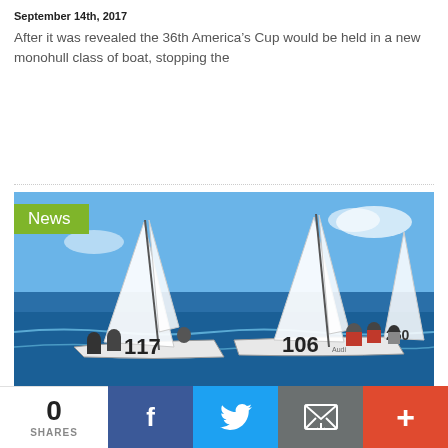September 14th, 2017
After it was revealed the 36th America's Cup would be held in a new monohull class of boat, stopping the
[Figure (photo): Sailing race photo showing two J/70 sailboats numbered 117 and 106 with crews racing on blue sea, with a third boat numbered 260 visible in background. A green 'News' badge overlays the top-left corner.]
Third time is a charm at J/70 Worlds
September 14th, 2017
0 SHARES